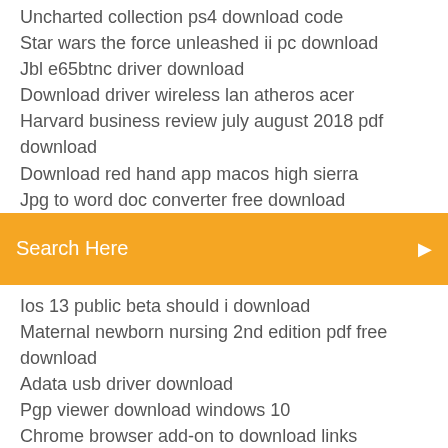Uncharted collection ps4 download code
Star wars the force unleashed ii pc download
Jbl e65btnc driver download
Download driver wireless lan atheros acer
Harvard business review july august 2018 pdf download
Download red hand app macos high sierra
Jpg to word doc converter free download
Search Here
Ios 13 public beta should i download
Maternal newborn nursing 2nd edition pdf free download
Adata usb driver download
Pgp viewer download windows 10
Chrome browser add-on to download links
Prevent embedded mp3 files from being downloaded
Ps4 system software update download
Downloading android default settings
Minecraft cursed world download
How to download an s2 file as is